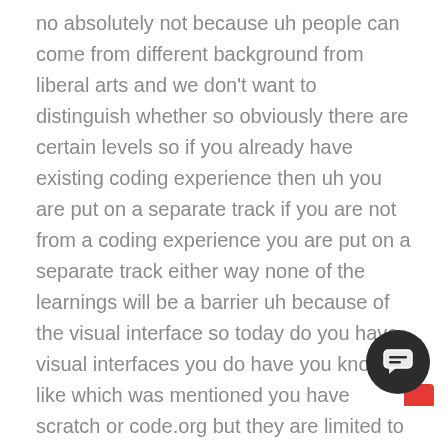no absolutely not because uh people can come from different background from liberal arts and we don't want to distinguish whether so obviously there are certain levels so if you already have existing coding experience then uh you are put on a separate track if you are not from a coding experience you are put on a separate track either way none of the learnings will be a barrier uh because of the visual interface so today do you have visual interfaces you do have you know like which was mentioned you have scratch or code.org but they are limited to very child play and for early education but if you really want to create problems which are you know which are more sophisticated like you need mass detection or you want to do a facial recognition or you want to do a you know a summary analysis of nlp you you need to have more sophisticated models and there having a visual will help you to adapt a skill faster learn faster and and learn coding but you might not want to do coding